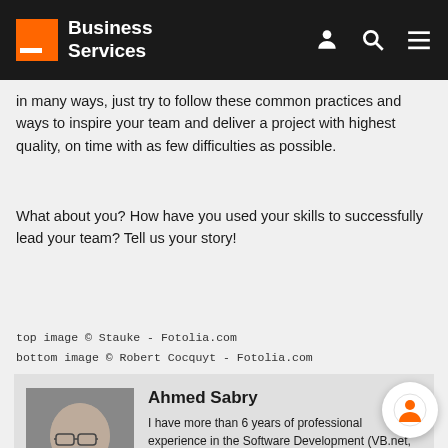Business Services
in many ways, just try to follow these common practices and ways to inspire your team and deliver a project with highest quality, on time with as few difficulties as possible.
What about you? How have you used your skills to successfully lead your team? Tell us your story!
top image © Stauke - Fotolia.com
bottom image © Robert Cocquyt - Fotolia.com
[Figure (photo): Author photo of Ahmed Sabry, a man with glasses and a beard, smiling]
Ahmed Sabry
I have more than 6 years of professional experience in the Software Development (VB.net, Oracle, Toad, CMS projects..etc.) and Telecommunications